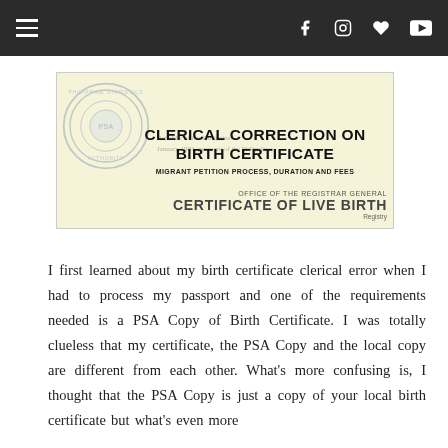≡  f  Instagram  ♥  YouTube
[Figure (photo): Hero image showing a PSA Certificate of Live Birth with overlaid text: CLERICAL CORRECTION ON BIRTH CERTIFICATE - MIGRANT PETITION PROCESS, DURATION AND FEES. Background shows a Philippine Statistics Authority seal watermark.]
I first learned about my birth certificate clerical error when I had to process my passport and one of the requirements needed is a PSA Copy of Birth Certificate. I was totally clueless that my certificate, the PSA Copy and the local copy are different from each other. What's more confusing is, I thought that the PSA Copy is just a copy of your local birth certificate but what's even more